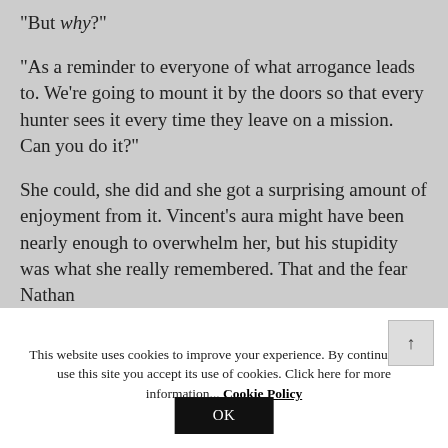"But why?"
"As a reminder to everyone of what arrogance leads to.  We're going to mount it by the doors so that every hunter sees it every time they leave on a mission.  Can you do it?"
She could, she did and she got a surprising amount of enjoyment from it.  Vincent's aura might have been nearly enough to overwhelm her, but his stupidity was what she really remembered.  That and the fear Nathan
This website uses cookies to improve your experience. By continuing to use this site you accept its use of cookies. Click here for more information... Cookie Policy
OK